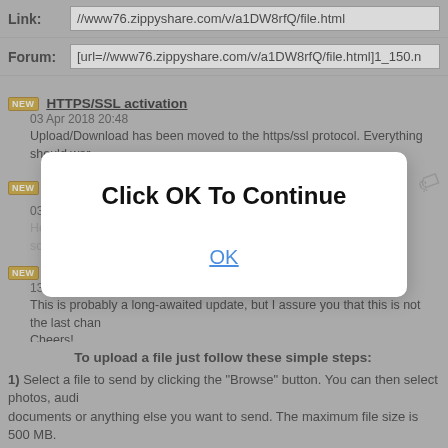Link: //www76.zippyshare.com/v/a1DW8rfQ/file.html
Forum: [url=//www76.zippyshare.com/v/a1DW8rfQ/file.html]1_150.n
HTTPS/SSL activation
03 Apr 2018 20:48
Upload/Download has been moved to the https/ssl protocol. Everything should wor
Zippyuploader update, Docs and Videos encoding performance boost
03 Dec 2017 21:10
Hey folks, <strong>A quick update,</strong> Today a new version (0.0.16.0) of th something
500MB! We just increased the file size limit
13 Nov 2017 00:08
This is probably a long-awaited update, but I assure you that this is not the last chan Cheers! ...
[Figure (screenshot): Modal dialog overlay with text 'Click OK To Continue' and a blue underlined 'OK' button]
To upload a file just follow these simple steps:
1) Select a file to send by clicking the "Browse" button. You can then select photos, audio documents or anything else you want to send. The maximum file size is 500 MB.